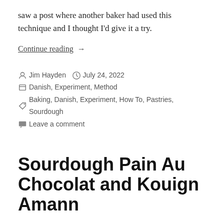saw a post where another baker had used this technique and I thought I'd give it a try.
Continue reading →
Jim Hayden  July 24, 2022
Danish, Experiment, Method
Baking, Danish, Experiment, How To, Pastries, Sourdough
Leave a comment
Sourdough Pain Au Chocolat and Kouign Amann